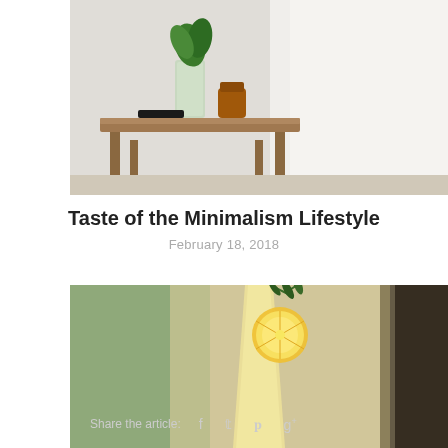[Figure (photo): A wooden bedside table with a glass jar of green plants, an amber jar, and a dark phone on it. White bedsheets in the background.]
Taste of the Minimalism Lifestyle
February 18, 2018
[Figure (photo): A tall glass of pale yellow drink garnished with a dried lemon slice and a rosemary sprig. Blurred background with greenery and a dark frame.]
Share the article: